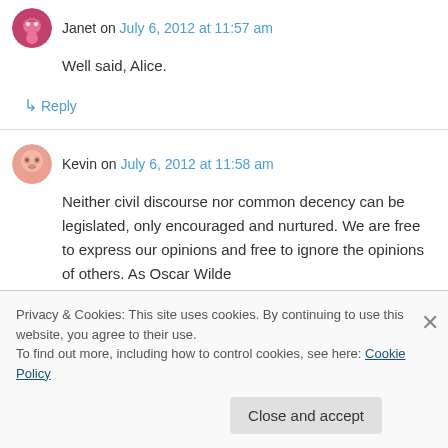Janet on July 6, 2012 at 11:57 am
Well said, Alice.
↳ Reply
Kevin on July 6, 2012 at 11:58 am
Neither civil discourse nor common decency can be legislated, only encouraged and nurtured. We are free to express our opinions and free to ignore the opinions of others. As Oscar Wilde
Privacy & Cookies: This site uses cookies. By continuing to use this website, you agree to their use.
To find out more, including how to control cookies, see here: Cookie Policy